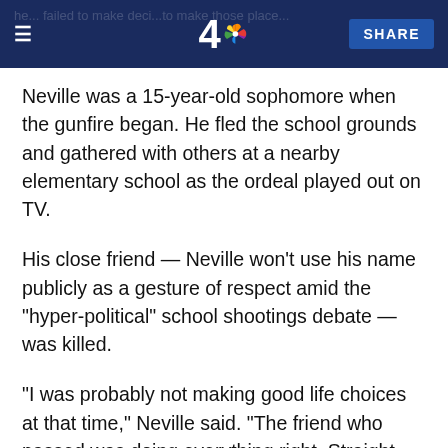NBC 4 | SHARE
Neville was a 15-year-old sophomore when the gunfire began. He fled the school grounds and gathered with others at a nearby elementary school as the ordeal played out on TV.
His close friend — Neville won't use his name publicly as a gesture of respect amid the "hyper-political" school shootings debate — was killed.
"I was probably not making good life choices at that time," Neville said. "The friend who passed was doing everything right. Straight As. For me, it was a wakeup call that I needed to get my act together and that life is precious."